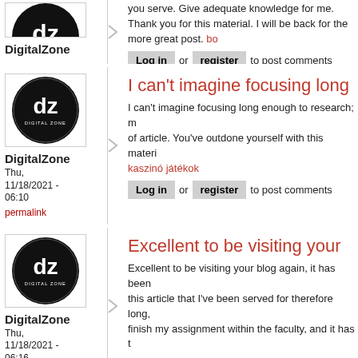you serve. Give adequate knowledge for me. Thank you for this material. I will be back for the more great post. bo...
Login or register to post comments
[Figure (logo): DigitalZone circular logo, black background with 'dz' and 'DIGITAL ZONE' text in white]
DigitalZone
Thu,
11/18/2021 -
06:10
permalink
I can't imagine focusing long...
I can't imagine focusing long enough to research; much less write this kind of article. You've outdone yourself with this material. kaszinó játékok
Login or register to post comments
[Figure (logo): DigitalZone circular logo, black background with 'dz' and 'DIGITAL ZONE' text in white]
DigitalZone
Thu,
11/18/2021 -
06:16
permalink
Excellent to be visiting your...
Excellent to be visiting your blog again, it has been months for me. Well this article that I've been served for therefore long. I need this article to finish my assignment within the faculty, and it has t...